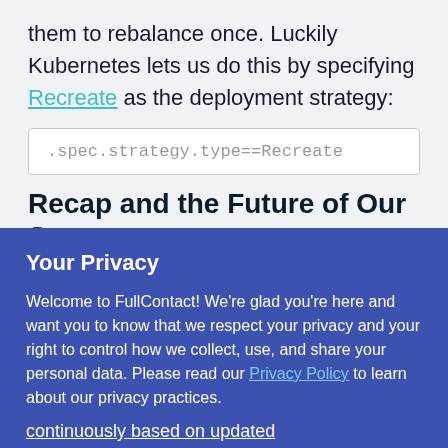them to rebalance once. Luckily Kubernetes lets us do this by specifying Recreate as the deployment strategy:
Recap and the Future of Our
Your Privacy
Welcome to FullContact! We're glad you're here and want you to know that we respect your privacy and your right to control how we collect, use, and share your personal data. Please read our Privacy Policy to learn about our privacy practices.
I understand
continuously based on updated